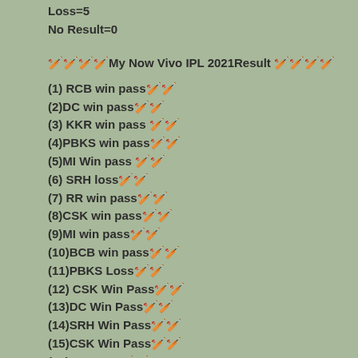Loss=5
No Result=0
🏏🏏🏏🏏My Now Vivo IPL 2021Result 🏏🏏🏏🏏
(1) RCB win pass🏏🏏
(2)DC win pass🏏🏏
(3) KKR win pass 🏏🏏
(4)PBKS win pass🏏🏏
(5)MI Win pass 🏏🏏
(6) SRH loss🏏🏏
(7) RR win pass🏏🏏
(8)CSK win pass🏏🏏
(9)MI win pass🏏🏏
(10)BCB win pass🏏🏏
(11)PBKS Loss🏏🏏
(12) CSK Win Pass🏏🏏
(13)DC Win Pass🏏🏏
(14)SRH Win Pass🏏🏏
(15)CSK Win Pass🏏🏏
(16)RR Loss🏏🏏
(17)PBKS Win Pass🏏🏏
(18) RR win pass🏏🏏